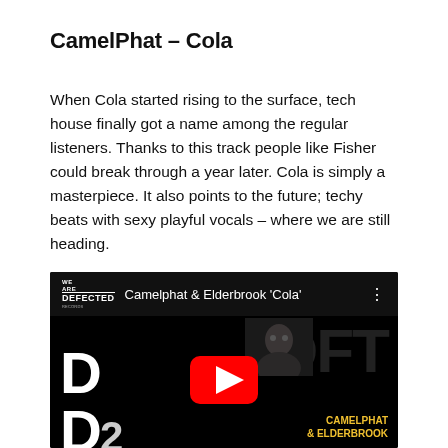CamelPhat – Cola
When Cola started rising to the surface, tech house finally got a name among the regular listeners. Thanks to this track people like Fisher could break through a year later. Cola is simply a masterpiece. It also points to the future; techy beats with sexy playful vocals – where we are still heading.
[Figure (screenshot): YouTube video thumbnail for 'Camelphat & Elderbrook Cola' on the We Are Defected channel. Black background with large white DFT letters partially visible, bold white lettering showing 'D', '2', '3D' with TM mark, red YouTube play button in center, yellow 'CAMELPHAT & ELDERBROOK' text at bottom right.]